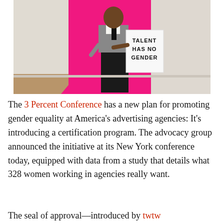[Figure (photo): A person standing in front of a bright pink backdrop, holding a white sign that reads 'TALENT HAS NO GENDER' in bold black letters.]
The 3 Percent Conference has a new plan for promoting gender equality at America's advertising agencies: It's introducing a certification program. The advocacy group announced the initiative at its New York conference today, equipped with data from a study that details what 328 women working in agencies really want.
The seal of approval—introduced by twtw